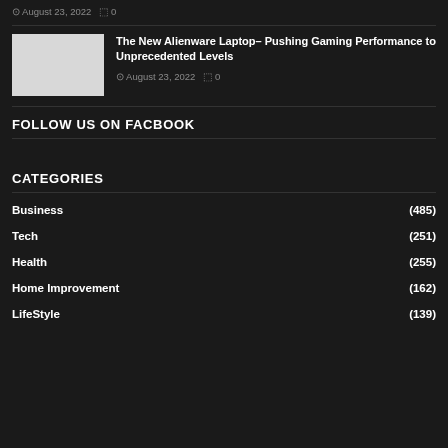August 23, 2022  0
[Figure (photo): Thumbnail image placeholder for article about Alienware Laptop]
The New Alienware Laptop– Pushing Gaming Performance to Unprecedented Levels
August 23, 2022  0
FOLLOW US ON FACBOOK
CATEGORIES
Business (485)
Tech (251)
Health (255)
Home Improvement (162)
LifeStyle (139)